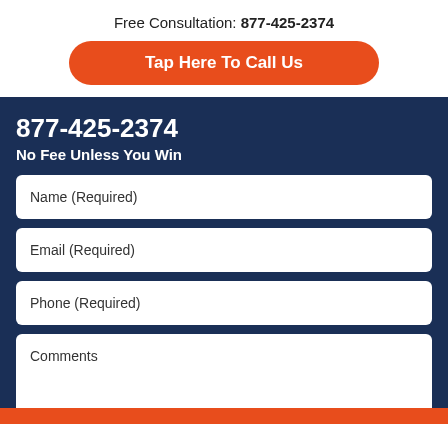Free Consultation: 877-425-2374
Tap Here To Call Us
877-425-2374
No Fee Unless You Win
Name (Required)
Email (Required)
Phone (Required)
Comments